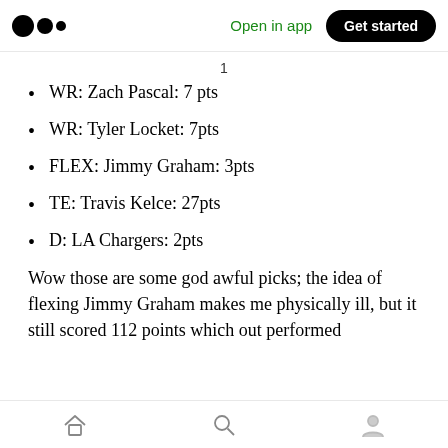Medium app navigation bar with logo, Open in app, Get started
WR: Zach Pascal: 7 pts
WR: Tyler Locket: 7pts
FLEX: Jimmy Graham: 3pts
TE: Travis Kelce: 27pts
D: LA Chargers: 2pts
Wow those are some god awful picks; the idea of flexing Jimmy Graham makes me physically ill, but it still scored 112 points which out performed
Home, Search, Profile navigation icons